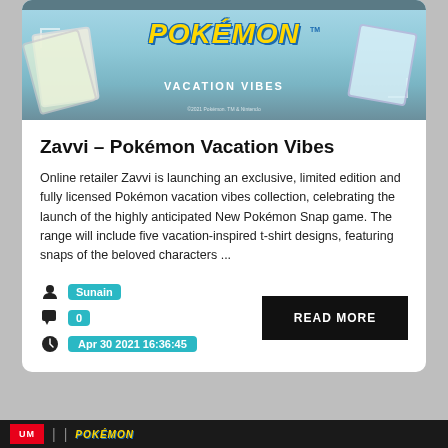[Figure (screenshot): Pokémon Vacation Vibes banner image with Pokémon logo in yellow and 'VACATION VIBES' text on a teal/blue background]
Zavvi – Pokémon Vacation Vibes
Online retailer Zavvi is launching an exclusive, limited edition and fully licensed Pokémon vacation vibes collection, celebrating the launch of the highly anticipated New Pokémon Snap game. The range will include five vacation-inspired t-shirt designs, featuring snaps of the beloved characters ...
Sunain
0
Apr 30 2021 16:36:45
READ MORE